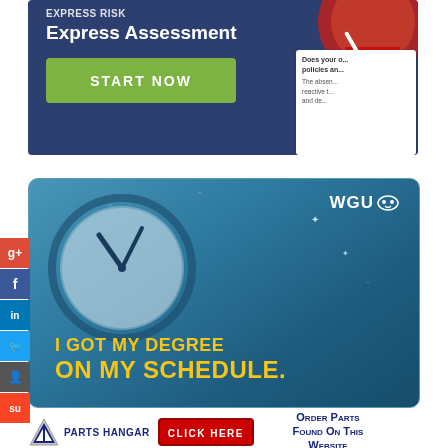[Figure (screenshot): Top banner with dark blue background showing 'Express Assessment' title, green START NOW button, and a partial gauge/speedometer on the right with a white card overlay.]
[Figure (screenshot): WGU advertisement banner with teal/dark blue background, clock illustration, WGU owl logo, stars, and yellow text reading 'I GOT MY DEGREE ON MY SCHEDULE.']
[Figure (screenshot): Parts Hangar advertisement with logo, CLICK HERE red button, and 'Order Parts Found On This Website' text in dark blue.]